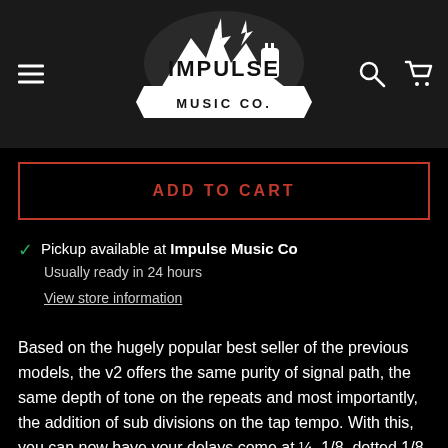[Figure (logo): Impulse Music Co. logo — white mountain/guitar silhouette with lightning bolt above text IMPULSE MUSIC CO. on dark background]
ADD TO CART
Pickup available at Impulse Music Co
Usually ready in 24 hours
View store information
Based on the hugely popular best seller of the previous models, the v2 offers the same purity of signal path, the same depth of tone on the repeats and most importantly, the addition of sub divisions on the tap tempo. With this, you can now have your delays come at ¼, 1/8, dotted 1/8